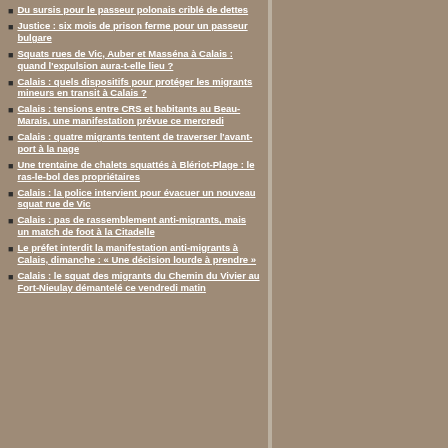Du sursis pour le passeur polonais criblé de dettes
Justice : six mois de prison ferme pour un passeur bulgare
Squats rues de Vic, Auber et Masséna à Calais : quand l'expulsion aura-t-elle lieu ?
Calais : quels dispositifs pour protéger les migrants mineurs en transit à Calais ?
Calais : tensions entre CRS et habitants au Beau-Marais, une manifestation prévue ce mercredi
Calais : quatre migrants tentent de traverser l'avant-port à la nage
Une trentaine de chalets squattés à Blériot-Plage : le ras-le-bol des propriétaires
Calais : la police intervient pour évacuer un nouveau squat rue de Vic
Calais : pas de rassemblement anti-migrants, mais un match de foot à la Citadelle
Le préfet interdit la manifestation anti-migrants à Calais, dimanche : « Une décision lourde à prendre »
Calais : le squat des migrants du Chemin du Vivier au Fort-Nieulay démantelé ce vendredi matin